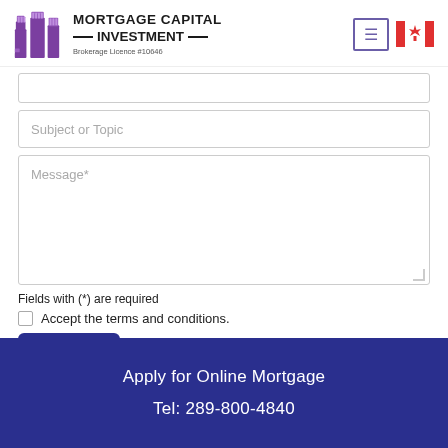[Figure (logo): Mortgage Capital Investment logo with purple building icon and text 'MORTGAGE CAPITAL INVESTMENT — Brokerage Licence #10646']
Subject or Topic
Message*
Fields with (*) are required
Accept the terms and conditions.
Apply for Online Mortgage
Tel: 289-800-4840